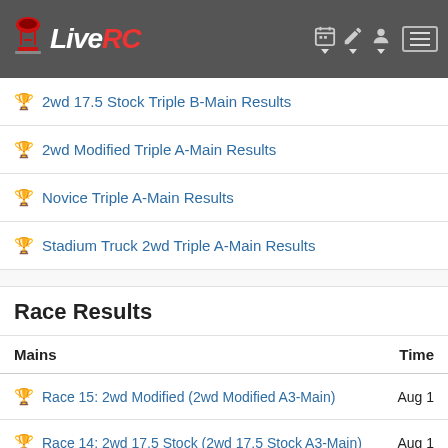LiveRC
2wd 17.5 Stock Triple B-Main Results
2wd Modified Triple A-Main Results
Novice Triple A-Main Results
Stadium Truck 2wd Triple A-Main Results
Race Results
| Mains | Time |
| --- | --- |
| Race 15: 2wd Modified (2wd Modified A3-Main) | Aug 1 |
| Race 14: 2wd 17.5 Stock (2wd 17.5 Stock A3-Main) | Aug 1 |
| Race 13: 2wd 17.5 Stock (2wd 17.5 Stock B3-Main) | Aug 1 |